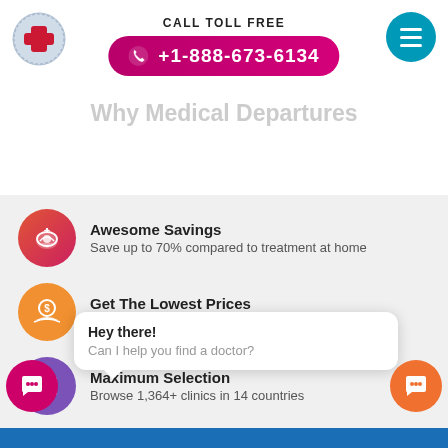[Figure (screenshot): Medical Departures website header with logo, call toll free label, phone number button, and menu icon]
CALL TOLL FREE
+1-888-673-6134
Awesome Savings - Save up to 70% compared to treatment at home
Get The Lowest Prices - Best price guaranteed
Maximum Selection - Browse 1,364+ clinics in 14 countries
Shop In Your Currency - Browse for the cost of treatment in your currency
Hey there!
Can I help you find a doctor?